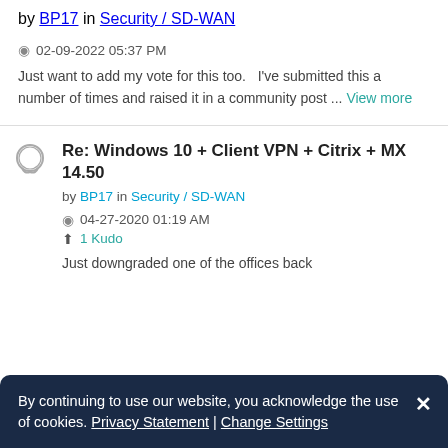by BP17 in Security / SD-WAN
02-09-2022 05:37 PM
Just want to add my vote for this too.   I've submitted this a number of times and raised it in a community post ... View more
Re: Windows 10 + Client VPN + Citrix + MX 14.50
by BP17 in Security / SD-WAN
04-27-2020 01:19 AM
1 Kudo
Just downgraded one of the offices back
By continuing to use our website, you acknowledge the use of cookies. Privacy Statement | Change Settings